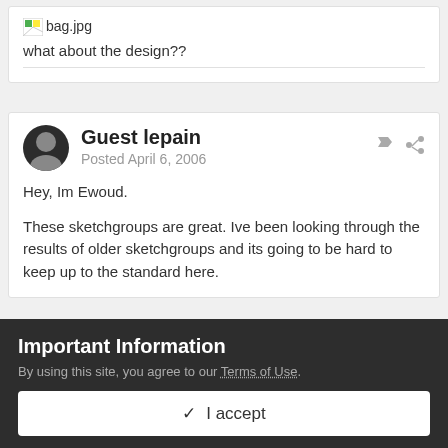[Figure (other): Broken image placeholder showing 'bag.jpg']
what about the design??
Guest lepain
Posted April 6, 2006
Hey, Im Ewoud.
These sketchgroups are great. Ive been looking through the results of older sketchgroups and its going to be hard to keep up to the standard here.
Important Information
By using this site, you agree to our Terms of Use.
✓  I accept